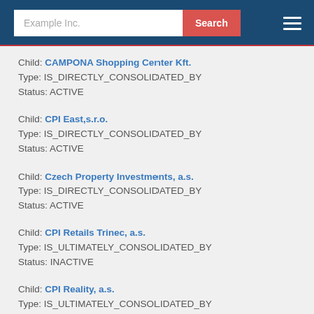Child: CAMPONA Shopping Center Kft.
Type: IS_DIRECTLY_CONSOLIDATED_BY
Status: ACTIVE
Child: CPI East,s.r.o.
Type: IS_DIRECTLY_CONSOLIDATED_BY
Status: ACTIVE
Child: Czech Property Investments, a.s.
Type: IS_DIRECTLY_CONSOLIDATED_BY
Status: ACTIVE
Child: CPI Retails Trinec, a.s.
Type: IS_ULTIMATELY_CONSOLIDATED_BY
Status: INACTIVE
Child: CPI Reality, a.s.
Type: IS_ULTIMATELY_CONSOLIDATED_BY
Status: ACTIVE
Child: CPI Finance Slovakia II, a. s.